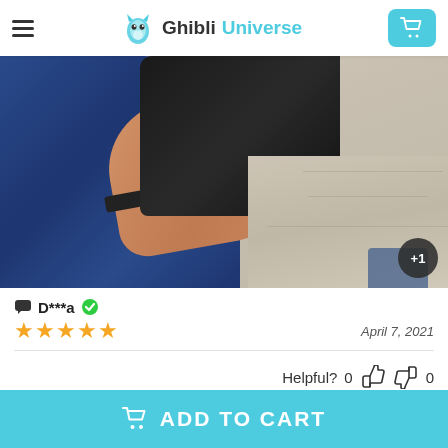Ghibli Universe
[Figure (photo): A hand holding a black phone/case against a light wooden floor background, wearing a blue fleece sleeve and smartwatch.]
D***a ✅
★★★★★  April 7, 2021
Helpful?  0 👍 0 👎